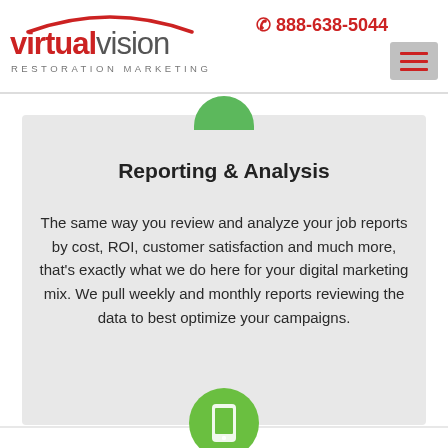888-638-5044 | Virtual Vision Restoration Marketing
Reporting & Analysis
The same way you review and analyze your job reports by cost, ROI, customer satisfaction and much more, that's exactly what we do here for your digital marketing mix. We pull weekly and monthly reports reviewing the data to best optimize your campaigns.
[Figure (illustration): Green circle icon with mobile phone symbol at bottom of page]